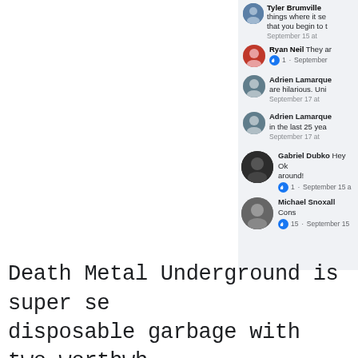[Figure (screenshot): Facebook comment thread screenshot showing comments from Tyler Brumville, Ryan Neil, Adrien Lamarque (twice), Gabriel Dubko, and Michael Snoxall with like counts and timestamps]
Death Metal Underground is super se... disposable garbage with two worthwh...